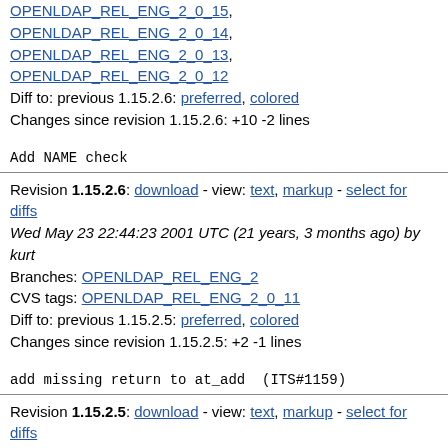OPENLDAP_REL_ENG_2_0_15, OPENLDAP_REL_ENG_2_0_14, OPENLDAP_REL_ENG_2_0_13, OPENLDAP_REL_ENG_2_0_12
Diff to: previous 1.15.2.6: preferred, colored
Changes since revision 1.15.2.6: +10 -2 lines
Add NAME check
Revision 1.15.2.6: download - view: text, markup - select for diffs
Wed May 23 22:44:23 2001 UTC (21 years, 3 months ago) by kurt
Branches: OPENLDAP_REL_ENG_2
CVS tags: OPENLDAP_REL_ENG_2_0_11
Diff to: previous 1.15.2.5: preferred, colored
Changes since revision 1.15.2.5: +2 -1 lines
add missing return to at_add  (ITS#1159)
Revision 1.15.2.5: download - view: text, markup - select for diffs
Thu May 17 23:18:02 2001 UTC (21 years, 3 months ago) by kurt
Branches: OPENLDAP_REL_ENG_2
CVS tags: OPENLDAP_REL_ENG_2_0_9, OPENLDAP_REL_ENG_2_0_10
Diff to: previous 1.15.2.4: preferred, colored
Changes since revision 1.15.2.4: +6 -2 lines